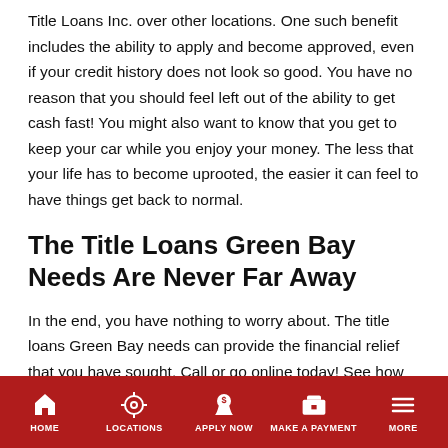Title Loans Inc. over other locations. One such benefit includes the ability to apply and become approved, even if your credit history does not look so good. You have no reason that you should feel left out of the ability to get cash fast! You might also want to know that you get to keep your car while you enjoy your money. The less that your life has to become uprooted, the easier it can feel to have things get back to normal.
The Title Loans Green Bay Needs Are Never Far Away
In the end, you have nothing to worry about. The title loans Green Bay needs can provide the financial relief that you have sought. Call or go online today! See how Wisconsin Title Loans Inc. can help you weather the financial storm of your life!
HOME | LOCATIONS | APPLY NOW | MAKE A PAYMENT | MORE